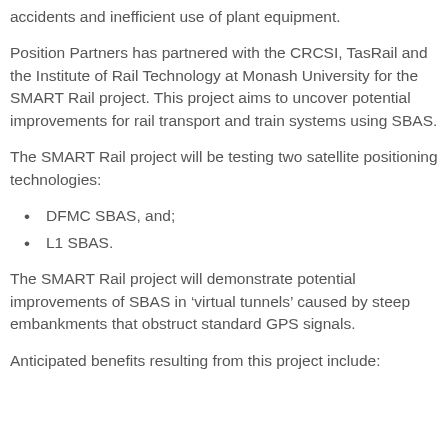accidents and inefficient use of plant equipment.
Position Partners has partnered with the CRCSI, TasRail and the Institute of Rail Technology at Monash University for the SMART Rail project. This project aims to uncover potential improvements for rail transport and train systems using SBAS.
The SMART Rail project will be testing two satellite positioning technologies:
DFMC SBAS, and;
L1 SBAS.
The SMART Rail project will demonstrate potential improvements of SBAS in ‘virtual tunnels’ caused by steep embankments that obstruct standard GPS signals.
Anticipated benefits resulting from this project include: